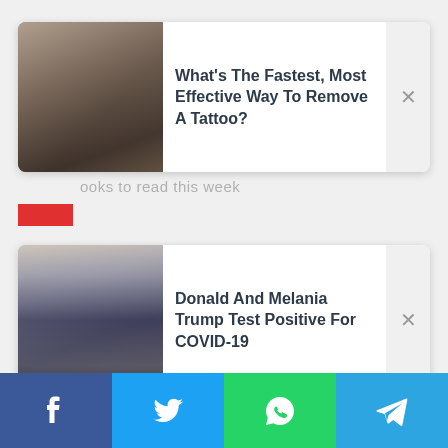[Figure (screenshot): News article card with thumbnail: tattoo removal image on left, title text on right with close X button]
What's The Fastest, Most Effective Way To Remove A Tattoo?
[Figure (screenshot): News article card with thumbnail: Donald Trump and Melania Trump photo on left, title text on right with close X button]
Donald And Melania Trump Test Positive For COVID-19
[Figure (infographic): Social share bar with Facebook, Twitter, WhatsApp, and Telegram icons]